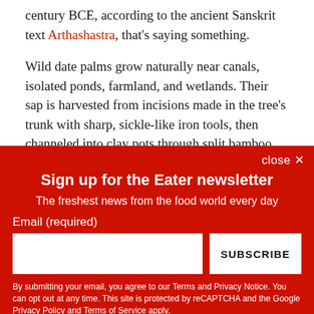century BCE, according to the ancient Sanskrit text Arthashastra, that's saying something.
Wild date palms grow naturally near canals, isolated ponds, farmland, and wetlands. Their sap is harvested from incisions made in the tree's trunk with sharp, sickle-like iron tools, then channeled into clay pots through split bamboo stalks that the shuli attach to the trees. Composed of 10 to
Sign up for the Eater newsletter
The freshest news from the food world every day
Email (required)
SUBSCRIBE
By submitting your email, you agree to our Terms and Privacy Notice. You can opt out at any time. This site is protected by reCAPTCHA and the Google Privacy Policy and Terms of Service apply.